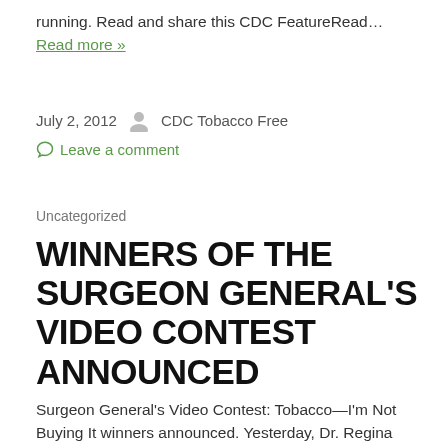running. Read and share this CDC FeatureRead… Read more »
July 2, 2012    CDC Tobacco Free
Leave a comment
Uncategorized
WINNERS OF THE SURGEON GENERAL'S VIDEO CONTEST ANNOUNCED
Surgeon General's Video Contest: Tobacco—I'm Not Buying It winners announced. Yesterday, Dr. Regina